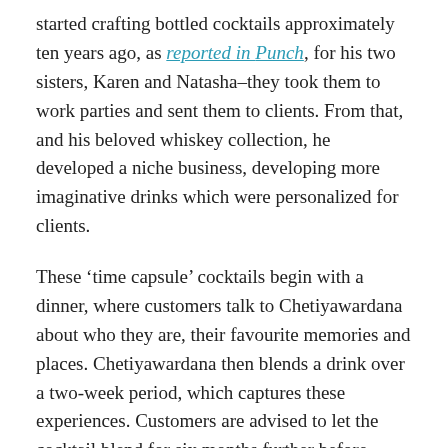started crafting bottled cocktails approximately ten years ago, as reported in Punch, for his two sisters, Karen and Natasha–they took them to work parties and sent them to clients. From that, and his beloved whiskey collection, he developed a niche business, developing more imaginative drinks which were personalized for clients.
These 'time capsule' cocktails begin with a dinner, where customers talk to Chetiyawardana about who they are, their favourite memories and places. Chetiyawardana then blends a drink over a two-week period, which captures these experiences. Customers are advised to let the cocktail blend for six months further before touching it; sometimes a special drink will be made to tie in with a big commemoration, like an anniversary.
MORE FOR YOU